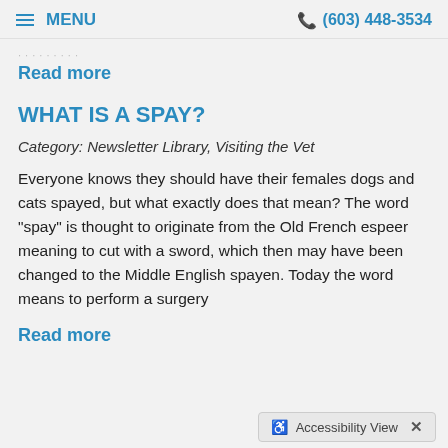MENU | (603) 448-3534
[faded/partially visible text]
Read more
WHAT IS A SPAY?
Category: Newsletter Library, Visiting the Vet
Everyone knows they should have their females dogs and cats spayed, but what exactly does that mean? The word "spay" is thought to originate from the Old French espeer meaning to cut with a sword, which then may have been changed to the Middle English spayen. Today the word means to perform a surgery
Read more
Accessibility View ×